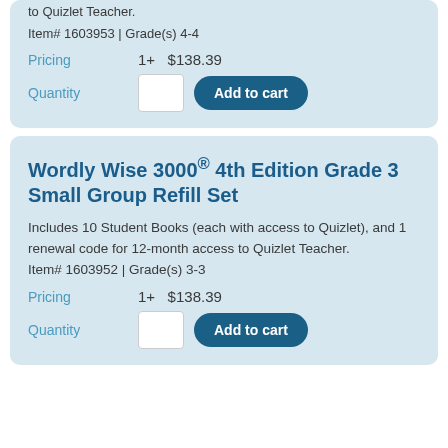to Quizlet Teacher.
Item# 1603953 | Grade(s) 4-4
Pricing   1+  $138.39
Quantity   [input]  Add to cart
Wordly Wise 3000® 4th Edition Grade 3 Small Group Refill Set
Includes 10 Student Books (each with access to Quizlet), and 1 renewal code for 12-month access to Quizlet Teacher.
Item# 1603952 | Grade(s) 3-3
Pricing   1+  $138.39
Quantity   [input]  Add to cart